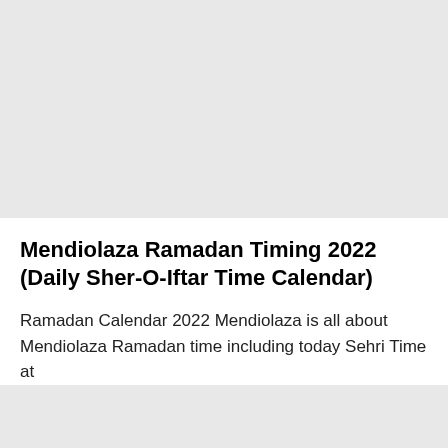Mendiolaza Ramadan Timing 2022 (Daily Sher-O-Iftar Time Calendar)
Ramadan Calendar 2022 Mendiolaza is all about Mendiolaza Ramadan time including today Sehri Time at